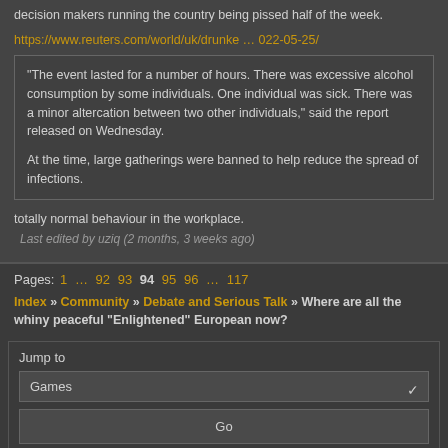decision makers running the country being pissed half of the week.
https://www.reuters.com/world/uk/drunke … 022-05-25/
"The event lasted for a number of hours. There was excessive alcohol consumption by some individuals. One individual was sick. There was a minor altercation between two other individuals," said the report released on Wednesday.

At the time, large gatherings were banned to help reduce the spread of infections.
totally normal behaviour in the workplace.
Last edited by uziq (2 months, 3 weeks ago)
Pages: 1 … 92 93 94 95 96 … 117
Index » Community » Debate and Serious Talk » Where are all the whiny peaceful "Enlightened" European now?
Jump to
Games
Go